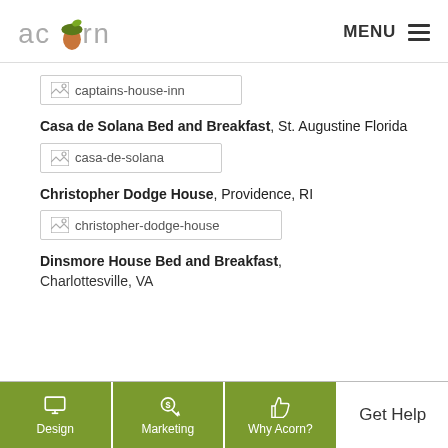acorn | MENU
[Figure (illustration): Broken image placeholder for captains-house-inn]
Casa de Solana Bed and Breakfast, St. Augustine Florida
[Figure (illustration): Broken image placeholder for casa-de-solana]
Christopher Dodge House, Providence, RI
[Figure (illustration): Broken image placeholder for christopher-dodge-house]
Dinsmore House Bed and Breakfast, Charlottesville, VA
Design | Marketing | Why Acorn? | Get Help